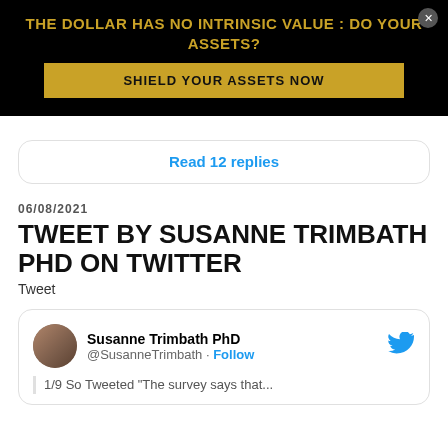THE DOLLAR HAS NO INTRINSIC VALUE : DO YOUR ASSETS?
SHIELD YOUR ASSETS NOW
Read 12 replies
06/08/2021
TWEET BY SUSANNE TRIMBATH PHD ON TWITTER
Tweet
Susanne Trimbath PhD @SusanneTrimbath · Follow